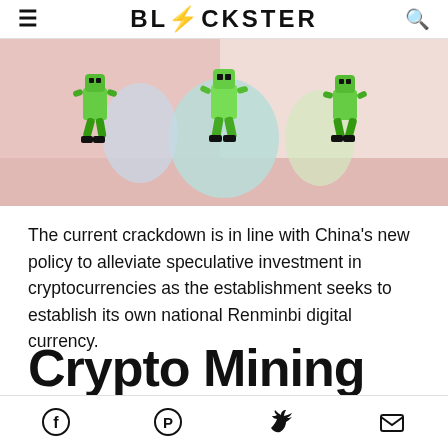BLOCKSTER
[Figure (illustration): Hero image showing green robot/character figures dancing or posing against a pink and light background with colorful geometric shapes]
The current crackdown is in line with China's new policy to alleviate speculative investment in cryptocurrencies as the establishment seeks to establish its own national Renminbi digital currency.
Crypto Mining
Social share icons: Facebook, Pinterest, Twitter, Email